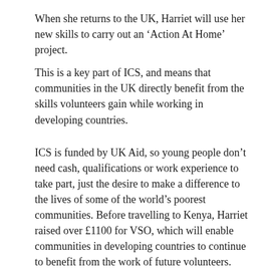When she returns to the UK, Harriet will use her new skills to carry out an ‘Action At Home’ project.
This is a key part of ICS, and means that communities in the UK directly benefit from the skills volunteers gain while working in developing countries.
ICS is funded by UK Aid, so young people don’t need cash, qualifications or work experience to take part, just the desire to make a difference to the lives of some of the world’s poorest communities. Before travelling to Kenya, Harriet raised over £1100 for VSO, which will enable communities in developing countries to continue to benefit from the work of future volunteers.